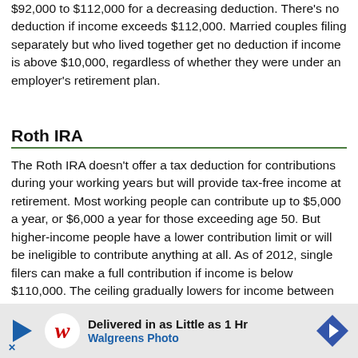$92,000 to $112,000 for a decreasing deduction. There's no deduction if income exceeds $112,000. Married couples filing separately but who lived together get no deduction if income is above $10,000, regardless of whether they were under an employer's retirement plan.
Roth IRA
The Roth IRA doesn't offer a tax deduction for contributions during your working years but will provide tax-free income at retirement. Most working people can contribute up to $5,000 a year, or $6,000 a year for those exceeding age 50. But higher-income people have a lower contribution limit or will be ineligible to contribute anything at all. As of 2012, single filers can make a full contribution if income is below $110,000. The ceiling gradually lowers for income between $110,000 and $125,000. Singles can't contribute anything if income exceeds $125,000. For joint filers the limits are $173,000 for a full contribution and $173,000 to $183,000 for a reduced contribution. They are ineligible to contribute to the Roth if income exceeds $183,000. Married couples filing separately but who lived together are inelig...
[Figure (other): Advertisement banner: Walgreens Photo - Delivered in as Little as 1 Hr]